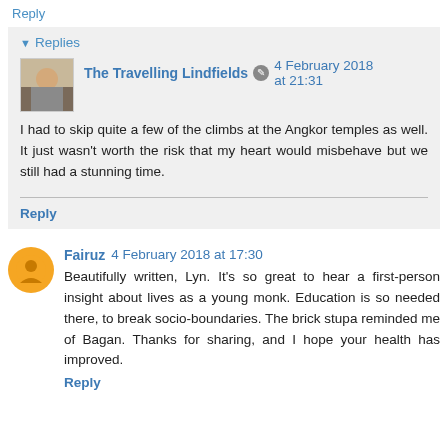Reply
▼ Replies
The Travelling Lindfields ✎ 4 February 2018 at 21:31
I had to skip quite a few of the climbs at the Angkor temples as well. It just wasn't worth the risk that my heart would misbehave but we still had a stunning time.
Reply
Fairuz 4 February 2018 at 17:30
Beautifully written, Lyn. It's so great to hear a first-person insight about lives as a young monk. Education is so needed there, to break socio-boundaries. The brick stupa reminded me of Bagan. Thanks for sharing, and I hope your health has improved.
Reply